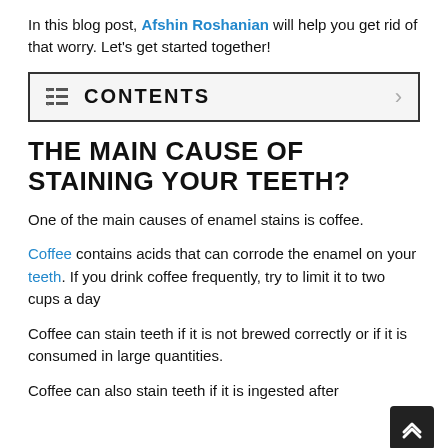In this blog post, Afshin Roshanian will help you get rid of that worry. Let's get started together!
≡ CONTENTS
THE MAIN CAUSE OF STAINING YOUR TEETH?
One of the main causes of enamel stains is coffee.
Coffee contains acids that can corrode the enamel on your teeth. If you drink coffee frequently, try to limit it to two cups a day
Coffee can stain teeth if it is not brewed correctly or if it is consumed in large quantities.
Coffee can also stain teeth if it is ingested after